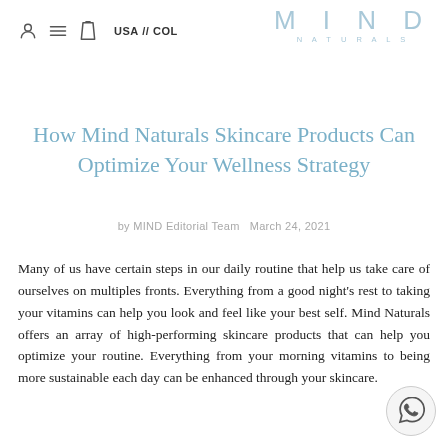USA // COL   MIND NATURALS
How Mind Naturals Skincare Products Can Optimize Your Wellness Strategy
by MIND Editorial Team   March 24, 2021
Many of us have certain steps in our daily routine that help us take care of ourselves on multiples fronts. Everything from a good night's rest to taking your vitamins can help you look and feel like your best self. Mind Naturals offers an array of high-performing skincare products that can help you optimize your routine. Everything from your morning vitamins to being more sustainable each day can be enhanced through your skincare.